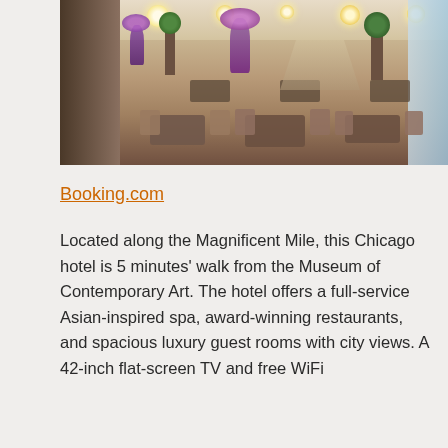[Figure (photo): Elegant hotel lobby interior with chandelier lighting, white and cream furniture, dining tables with chairs, purple floral arrangements, and tall topiary plants. Grand staircase visible in background.]
Booking.com
Located along the Magnificent Mile, this Chicago hotel is 5 minutes' walk from the Museum of Contemporary Art. The hotel offers a full-service Asian-inspired spa, award-winning restaurants, and spacious luxury guest rooms with city views. A 42-inch flat-screen TV and free WiFi